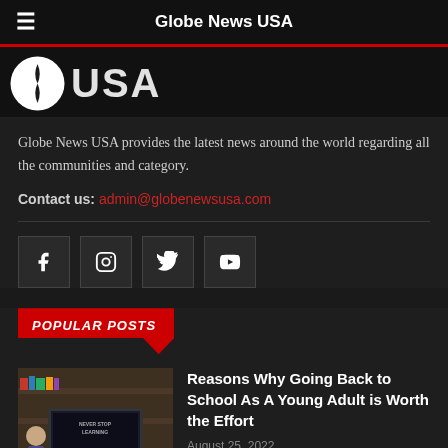Globe News USA
[Figure (logo): Globe News USA logo with globe icon and USA text]
Globe News USA provides the latest news around the world regarding all the communities and category.
Contact us: admin@globenewsusa.com
[Figure (infographic): Social media icons: Facebook, Instagram, Twitter, YouTube]
POPULAR POSTS
[Figure (photo): Laptop showing online learning website with NEVER STOP LEARNING text on screen]
Reasons Why Going Back to School As A Young Adult is Worth the Effort
August 25, 2022